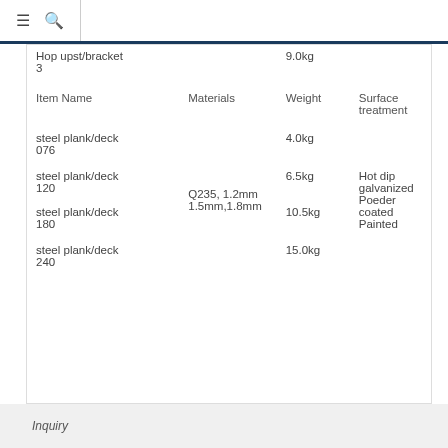≡ 🔍
| Item Name | Materials | Weight | Surface treatment |
| --- | --- | --- | --- |
| Hop upst/bracket 3 |  | 9.0kg |  |
| steel plank/deck 076 |  | 4.0kg |  |
| steel plank/deck 120 | Q235, 1.2mm 1.5mm,1.8mm | 6.5kg | Hot dip galvanized Poeder coated Painted |
| steel plank/deck 180 | Q235, 1.2mm 1.5mm,1.8mm | 10.5kg | Hot dip galvanized Poeder coated Painted |
| steel plank/deck 240 |  | 15.0kg |  |
Inquiry